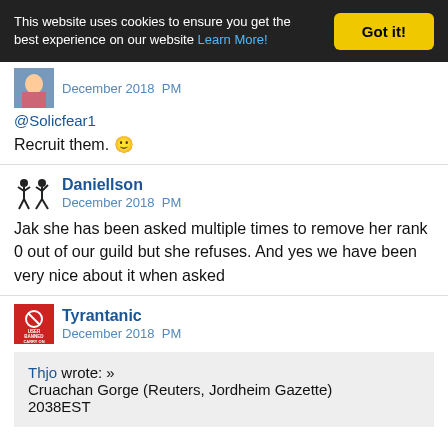This website uses cookies to ensure you get the best experience on our website Learn More! Got it!
December 2018  PM
@Solicfear1
Recruit them. 🙂
Daniellson
December 2018  PM
Jak she has been asked multiple times to remove her rank 0 out of our guild but she refuses. And yes we have been very nice about it when asked
Tyrantanic
December 2018  PM
Thjo wrote: »
Cruachan Gorge (Reuters, Jordheim Gazette)
2038EST